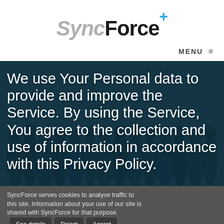[Figure (logo): SyncForce+ logo with 'Sync' in gray italic, 'Force' in black bold, and '+' in blue superscript]
MENU ≡
[Figure (photo): Dark teal-tinted crowd of people in the background]
We use Your Personal data to provide and improve the Service. By using the Service, You agree to the collection and use of information in accordance with this Privacy Policy.
SyncForce serves cookies to analyse traffic to this site. Information about your use of our site is shared with SyncForce for that purpose.
See details  Reject  Accept